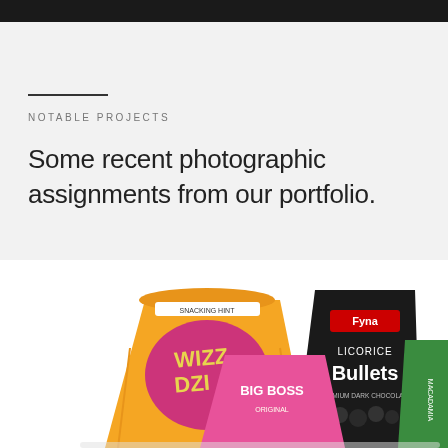NOTABLE PROJECTS
Some recent photographic assignments from our portfolio.
[Figure (photo): Product photography showing candy and snack packages including Wizz Diz, Big Boss, Fyna Licorice Bullets, and other snack bags arranged on a white background]